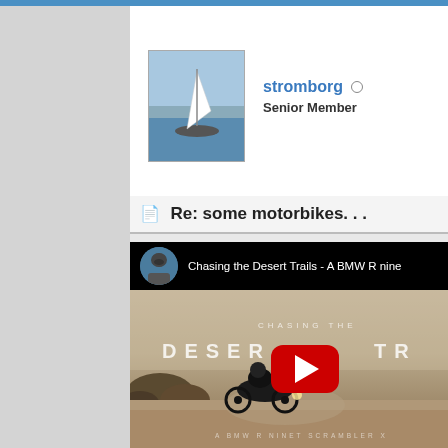stromborg ○ Senior Member
Re: some motorbikes. . .
[Figure (screenshot): YouTube video embed showing 'Chasing the Desert Trails - A BMW R ninetT Scrambler' video with desert motorcycle scene and YouTube play button overlay]